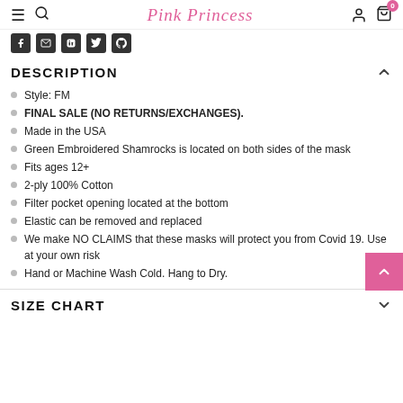Pink Princess
DESCRIPTION
Style: FM
FINAL SALE (NO RETURNS/EXCHANGES).
Made in the USA
Green Embroidered Shamrocks is located on both sides of the mask
Fits ages 12+
2-ply 100% Cotton
Filter pocket opening located at the bottom
Elastic can be removed and replaced
We make NO CLAIMS that these masks will protect you from Covid 19. Use at your own risk
Hand or Machine Wash Cold. Hang to Dry.
SIZE CHART